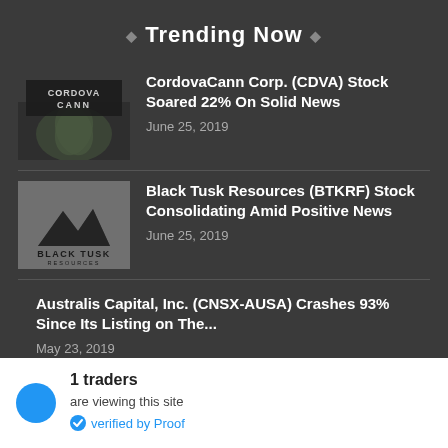♦ Trending Now ♦
[Figure (photo): CordovaCann logo thumbnail with cannabis leaf background]
CordovaCann Corp. (CDVA) Stock Soared 22% On Solid News
June 25, 2019
[Figure (logo): Black Tusk Resources logo on grey background]
Black Tusk Resources (BTKRF) Stock Consolidating Amid Positive News
June 25, 2019
Australis Capital, Inc. (CNSX-AUSA) Crashes 93% Since Its Listing on The...
May 23, 2019
1 traders are viewing this site verified by Proof